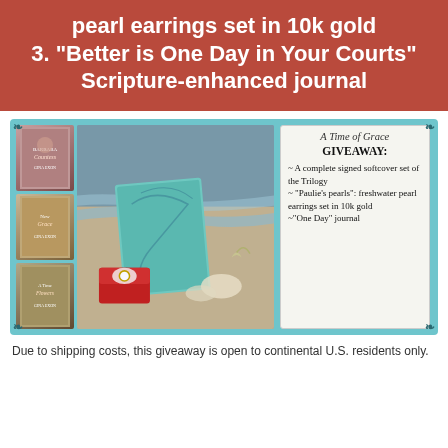pearl earrings set in 10k gold 3. "Better is One Day in Your Courts" Scripture-enhanced journal
[Figure (photo): A Time of Grace Giveaway promotional image showing book trilogy covers on left, a teal journal and ring box on rocks/beach in center, and a white text box on right listing giveaway prizes: signed softcover trilogy set, Paulie's pearls freshwater pearl earrings set in 10k gold, and One Day journal. Teal/aqua background with decorative scroll corners.]
Due to shipping costs, this giveaway is open to continental U.S. residents only.